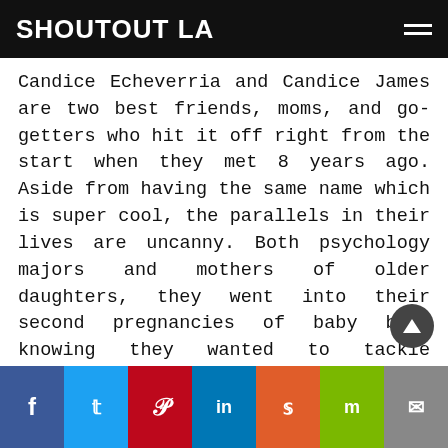SHOUTOUT LA
Candice Echeverria and Candice James are two best friends, moms, and go-getters who hit it off right from the start when they met 8 years ago. Aside from having the same name which is super cool, the parallels in their lives are uncanny. Both psychology majors and mothers of older daughters, they went into their second pregnancies of baby boys knowing they wanted to tackle breastfeeding from an educated and empowered perspective this time around. They had their boys a week apart and loved coaching one another through the unexpected hurdles of feeding so much that they felt inspired to provide other breastfeeding parents with the